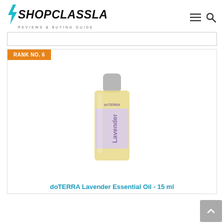SHOPCLASSLA REVIEWS & BUYING GUIDE
[Figure (screenshot): Website header with ShopClassLA logo (teal lightning bolt + bold italic text), tagline 'REVIEWS & BUYING GUIDE', and hamburger menu + search icons on the right]
[Figure (other): Empty advertisement banner area with grey border]
RANK NO. 6
[Figure (photo): doTERRA Lavender Essential Oil 15ml bottle with yellow label and lavender-colored branding, shown against white background]
doTERRA Lavender Essential Oil - 15 ml